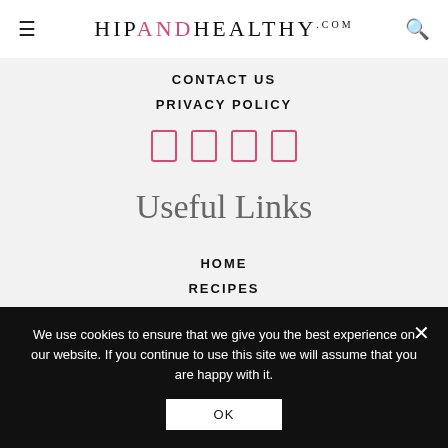HIPANDHEALTHY.COM
CONTACT US
PRIVACY POLICY
[Figure (other): Four pink rectangle social media icons in a row]
Useful Links
HOME
RECIPES
We use cookies to ensure that we give you the best experience on our website. If you continue to use this site we will assume that you are happy with it.
OK